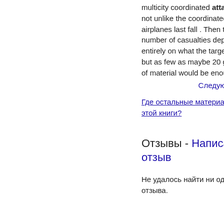multicity coordinated attack , not unlike the coordinated airplanes last fall . Then the number of casualties depends entirely on what the target is , but as few as maybe 20 grams of material would be enough ...
Следующая »
Где остальные материалы из этой книги?
Отзывы - Написать отзыв
Не удалось найти ни одного отзыва.